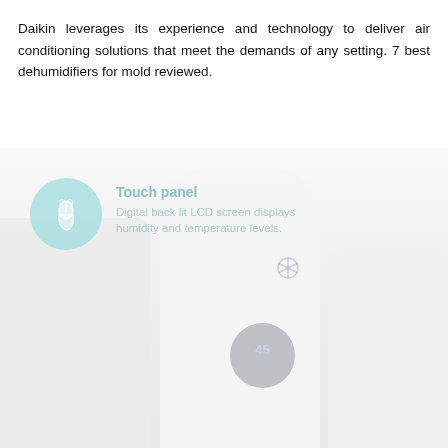Daikin leverages its experience and technology to deliver air conditioning solutions that meet the demands of any setting. 7 best dehumidifiers for mold reviewed.
[Figure (photo): Product photo of a humidifier/dehumidifier device with a touch panel callout overlay. The callout shows a light teal circular icon with a touch/hand gesture symbol, labeled 'Touch panel' with description 'Digital back lit LCD screen displays humidity and temperature levels.' The device has a rounded cylindrical white body and a circular LCD display showing '45' and '3'.]